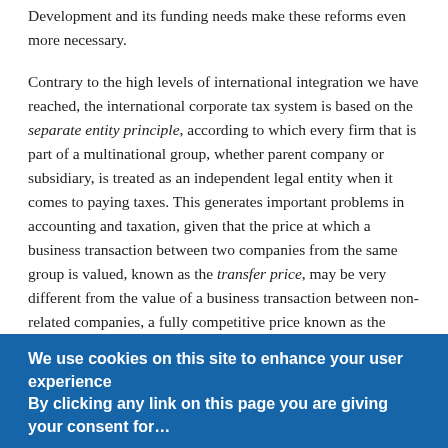Development and its funding needs make these reforms even more necessary.
Contrary to the high levels of international integration we have reached, the international corporate tax system is based on the separate entity principle, according to which every firm that is part of a multinational group, whether parent company or subsidiary, is treated as an independent legal entity when it comes to paying taxes. This generates important problems in accounting and taxation, given that the price at which a business transaction between two companies from the same group is valued, known as the transfer price, may be very different from the value of a business transaction between non-related companies, a fully competitive price known as the arm's length price.
In theory, the transfer prices should be similar to the
We use cookies on this site to enhance your user experience